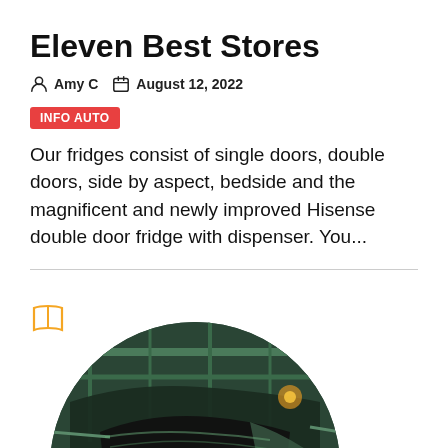Eleven Best Stores
Amy C   August 12, 2022
INFO AUTO
Our fridges consist of single doors, double doors, side by aspect, bedside and the magnificent and newly improved Hisense double door fridge with dispenser. You...
[Figure (photo): Circular cropped photo of a car assembly line / auto manufacturing plant interior with green tint, showing car frame with open hood, industrial ceiling structure visible.]